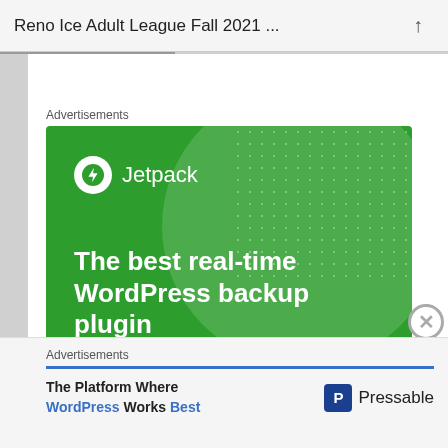Reno Ice Adult League Fall 2021 ...
Advertisements
[Figure (infographic): Jetpack advertisement on green background with bolt logo, headline 'The best real-time WordPress backup plugin', and 'Back up your site' button]
Advertisements
[Figure (infographic): Pressable advertisement: 'The Platform Where WordPress Works Best' with Pressable logo]